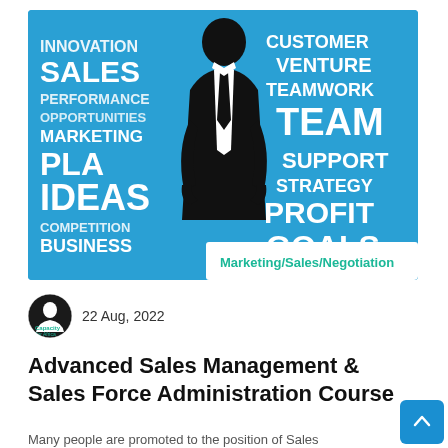[Figure (illustration): Blue background word cloud illustration with business/sales terms (Innovation, Sales, Performance, Opportunities, Marketing, Plan, Ideas, Competition, Business, Customer, Venture, Teamwork, Team, Support, Strategy, Profit, Goals) and silhouette of a businessman in a suit with hands on hips in the center. A white tag box in the lower right reads 'Marketing/Sales/Negotiation' in teal text.]
22 Aug, 2022
Advanced Sales Management & Sales Force Administration Course
Many people are promoted to the position of Sales